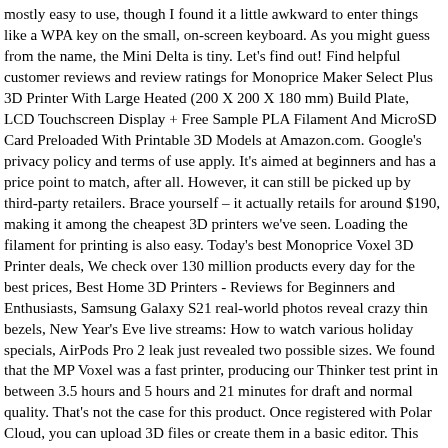mostly easy to use, though I found it a little awkward to enter things like a WPA key on the small, on-screen keyboard. As you might guess from the name, the Mini Delta is tiny. Let's find out! Find helpful customer reviews and review ratings for Monoprice Maker Select Plus 3D Printer With Large Heated (200 X 200 X 180 mm) Build Plate, LCD Touchscreen Display + Free Sample PLA Filament And MicroSD Card Preloaded With Printable 3D Models at Amazon.com. Google's privacy policy and terms of use apply. It's aimed at beginners and has a price point to match, after all. However, it can still be picked up by third-party retailers. Brace yourself – it actually retails for around $190, making it among the cheapest 3D printers we've seen. Loading the filament for printing is also easy. Today's best Monoprice Voxel 3D Printer deals, We check over 130 million products every day for the best prices, Best Home 3D Printers - Reviews for Beginners and Enthusiasts, Samsung Galaxy S21 real-world photos reveal crazy thin bezels, New Year's Eve live streams: How to watch various holiday specials, AirPods Pro 2 leak just revealed two possible sizes. We found that the MP Voxel was a fast printer, producing our Thinker test print in between 3.5 hours and 5 hours and 21 minutes for draft and normal quality. That's not the case for this product. Once registered with Polar Cloud, you can upload 3D files or create them in a basic editor. This printer's design is about as simple as they come. After spending his youth hanging out at his local hardware shop, it was no wonder Justin decided to become a computer engineer. Compared to the original Maker Select, this current model has a more stable build and comes with better parts. That's a short time to produce a 4.5-inch tall print, and is comparable to more expensive printers such as the Lulzbot Taz Mini 2, which to about the same time. This site is protected by a CAPTCHA...